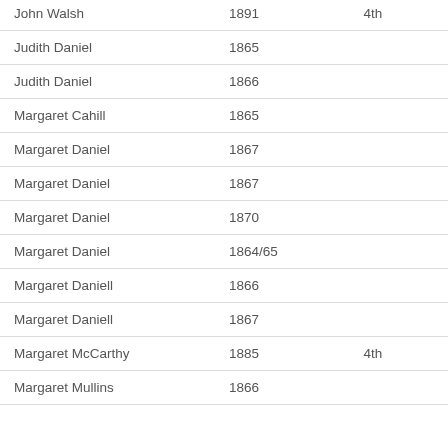| John Walsh | 1891 | 4th |
| Judith Daniel | 1865 |  |
| Judith Daniel | 1866 |  |
| Margaret Cahill | 1865 |  |
| Margaret Daniel | 1867 |  |
| Margaret Daniel | 1867 |  |
| Margaret Daniel | 1870 |  |
| Margaret Daniel | 1864/65 |  |
| Margaret Daniell | 1866 |  |
| Margaret Daniell | 1867 |  |
| Margaret McCarthy | 1885 | 4th |
| Margaret Mullins | 1866 |  |